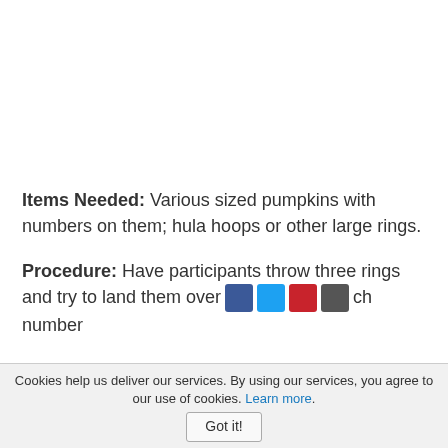Items Needed: Various sized pumpkins with numbers on them; hula hoops or other large rings.
Procedure: Have participants throw three rings and try to land them over [social icons] ch number
Cookies help us deliver our services. By using our services, you agree to our use of cookies. Learn more. Got it!